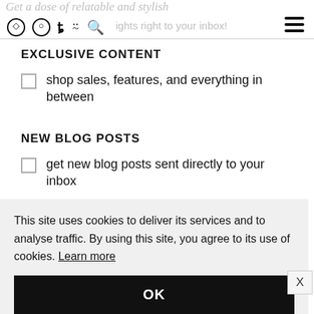Get a dose of relatable and stylish posts right to your inbox!
EXCLUSIVE CONTENT
shop sales, features, and everything in between
NEW BLOG POSTS
get new blog posts sent directly to your inbox
This site uses cookies to deliver its services and to analyse traffic. By using this site, you agree to its use of cookies. Learn more
OK
[Figure (screenshot): Advertisement banner for BitLife mobile game featuring FAIL text, cartoon character, flames, and START A NEW LIFE tagline]